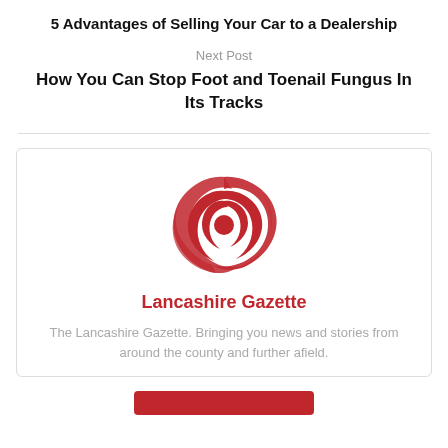5 Advantages of Selling Your Car to a Dealership
Next Post
How You Can Stop Foot and Toenail Fungus In Its Tracks
[Figure (logo): Lancashire Gazette red rose swirl logo]
Lancashire Gazette
The Lancashire Gazette. Bringing you news and stories from around the county and further afield.